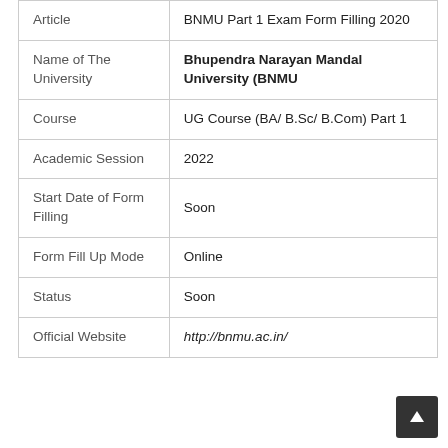| Field | Value |
| --- | --- |
| Article | BNMU Part 1 Exam Form Filling 2020 |
| Name of The University | Bhupendra Narayan Mandal University (BNMU |
| Course | UG Course (BA/ B.Sc/ B.Com) Part 1 |
| Academic Session | 2022 |
| Start Date of Form Filling | Soon |
| Form Fill Up Mode | Online |
| Status | Soon |
| Official Website | http://bnmu.ac.in/ |